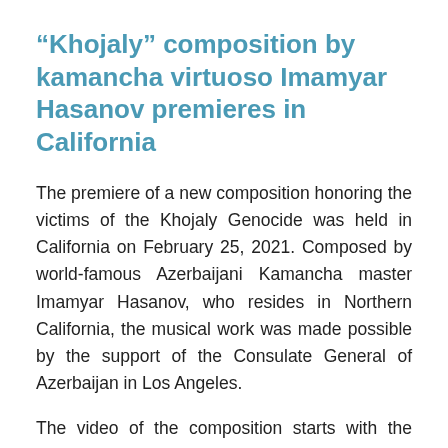“Khojaly” composition by kamancha virtuoso Imamyar Hasanov premieres in California
The premiere of a new composition honoring the victims of the Khojaly Genocide was held in California on February 25, 2021. Composed by world-famous Azerbaijani Kamancha master Imamyar Hasanov, who resides in Northern California, the musical work was made possible by the support of the Consulate General of Azerbaijan in Los Angeles.
The video of the composition starts with the presentation of information on the Khojaly Genocide. The information says: “On Feb. 26,